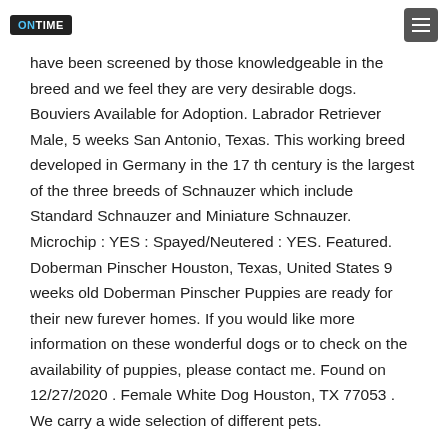ONTIME
have been screened by those knowledgeable in the breed and we feel they are very desirable dogs. Bouviers Available for Adoption. Labrador Retriever Male, 5 weeks San Antonio, Texas. This working breed developed in Germany in the 17 th century is the largest of the three breeds of Schnauzer which include Standard Schnauzer and Miniature Schnauzer. Microchip : YES : Spayed/Neutered : YES. Featured. Doberman Pinscher Houston, Texas, United States 9 weeks old Doberman Pinscher Puppies are ready for their new furever homes. If you would like more information on these wonderful dogs or to check on the availability of puppies, please contact me. Found on 12/27/2020 . Female White Dog Houston, TX 77053 . We carry a wide selection of different pets.